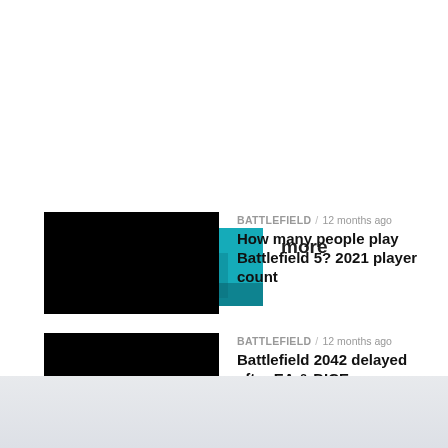more
[Figure (photo): Teal/cyan colored game screenshot thumbnail]
BATTLEFIELD / 12 months ago
How many people play Battlefield 5? 2021 player count
[Figure (photo): Black thumbnail image]
BATTLEFIELD / 12 months ago
Battlefield 2042 delayed after EA & DICE announcment
[Figure (photo): Black thumbnail image]
BATTLEFIELD / 12 months ago
Battlefield 2042 maps list:
[Figure (photo): Black thumbnail image (partial)]